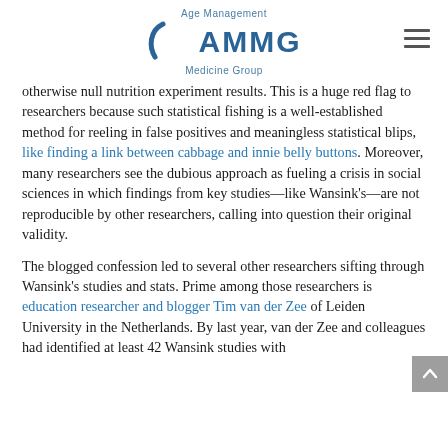Age Management AMMG Medicine Group
otherwise null nutrition experiment results. This is a huge red flag to researchers because such statistical fishing is a well-established method for reeling in false positives and meaningless statistical blips, like finding a link between cabbage and innie belly buttons. Moreover, many researchers see the dubious approach as fueling a crisis in social sciences in which findings from key studies—like Wansink's—are not reproducible by other researchers, calling into question their original validity.
The blogged confession led to several other researchers sifting through Wansink's studies and stats. Prime among those researchers is education researcher and blogger Tim van der Zee of Leiden University in the Netherlands. By last year, van der Zee and colleagues had identified at least 42 Wansink studies with...